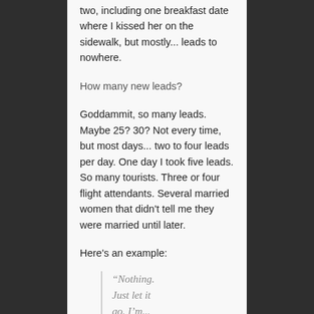two, including one breakfast date where I kissed her on the sidewalk, but mostly... leads to nowhere.
How many new leads?
Goddammit, so many leads. Maybe 25? 30? Not every time, but most days... two to four leads per day. One day I took five leads. So many tourists. Three or four flight attendants. Several married women that didn't tell me they were married until later.
Here's an example:
“Nothing. Just let it go. I'm...